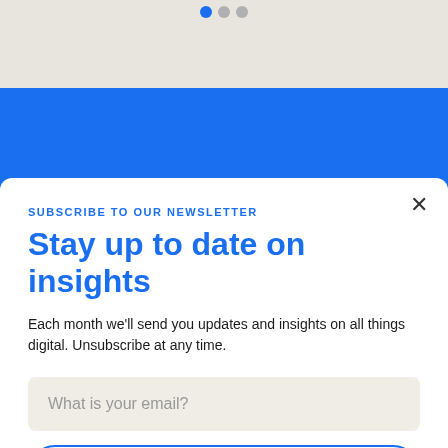[Figure (screenshot): Top gray area with pagination dots (blue filled, gray, gray)]
[Figure (screenshot): Blue banner background area]
×
SUBSCRIBE TO OUR NEWSLETTER
Stay up to date on insights
Each month we'll send you updates and insights on all things digital. Unsubscribe at any time.
What is your email?
subscribe now